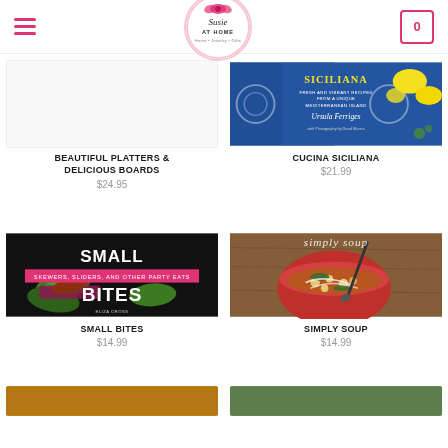Susie At Home — Home • Jewelry • Gifts
[Figure (screenshot): Product image placeholder (white/blank) for Beautiful Platters & Delicious Boards cookbook]
BEAUTIFUL PLATTERS & DELICIOUS BOARDS
$24.95
[Figure (photo): Cucina Siciliana cookbook cover — blue Mediterranean tile design with lemons, text: SICILIANA, Fresh and Vibrant Recipes from a Unique Mediterranean Island]
CUCINA SICILIANA
$21.99
[Figure (photo): Small Bites cookbook cover — dark background with stuffed jalapeños, bold white text SMALL BITES, pink banner: Skewers, Sliders, and Other Party Eats]
SMALL BITES
$14.99
[Figure (photo): Simply Soup cookbook cover — red bowl of soup with chickpeas and vegetables, spoon, wooden table background]
SIMPLY SOUP
$14.99